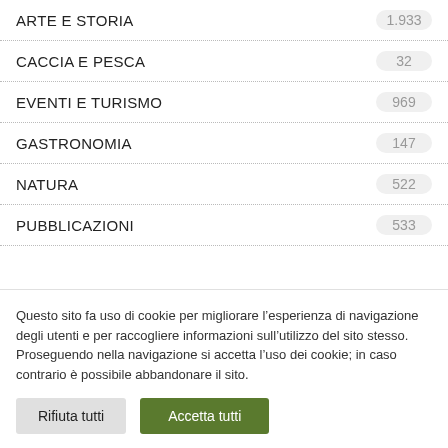ARTE E STORIA 1.933
CACCIA E PESCA 32
EVENTI E TURISMO 969
GASTRONOMIA 147
NATURA 522
PUBBLICAZIONI 533
Questo sito fa uso di cookie per migliorare l’esperienza di navigazione degli utenti e per raccogliere informazioni sull’utilizzo del sito stesso. Proseguendo nella navigazione si accetta l’uso dei cookie; in caso contrario è possibile abbandonare il sito.